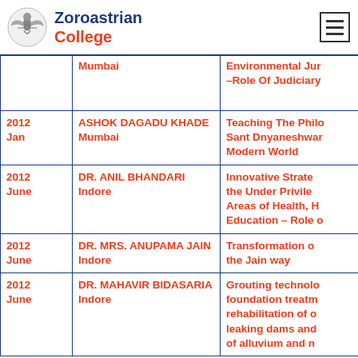Zoroastrian College
| Year/Month | Name & Location | Topic |
| --- | --- | --- |
|  | Mumbai | Environmental Jur-–Role Of Judiciary |
| 2012 Jan | ASHOK DAGADU KHADE Mumbai | Teaching The Philo Sant Dnyaneshwar Modern World |
| 2012 June | DR. ANIL BHANDARI Indore | Innovative Strate the Under Privile Areas of Health, H Education – Role o |
| 2012 June | DR. MRS. ANUPAMA JAIN Indore | Transformation o the Jain way |
| 2012 June | DR. MAHAVIR BIDASARIA Indore | Grouting technolo foundation treatm rehabilitation of o leaking dams and of alluvium and n |